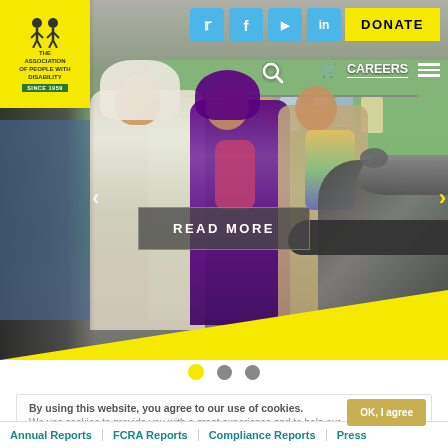[Figure (photo): Website screenshot of The Association of People with Disability (APD) homepage, showing a group of women and children in colorful clothing in an Indian neighborhood setting, with a green wall and motorcycle visible. Header contains logo, social media icons (Twitter, Facebook, YouTube, LinkedIn, Instagram), a yellow DONATE button, search icon, CAREERS link, and hamburger menu. A yellow READ MORE button overlay appears on the hero image. Carousel navigation dots (yellow active, two grey inactive) appear below the hero. A cookie consent notice appears below, and bottom navigation links include Annual Reports, FCRA Reports, Compliance Reports, Press.]
The Association of People with Disability | SINCE 1959
DONATE
CAREERS
READ MORE
By using this website, you agree to our use of cookies.
We use cookies to provide you with a great experience and to help our
OK, I agree
Annual Reports   FCRA Reports   Compliance Reports   Press